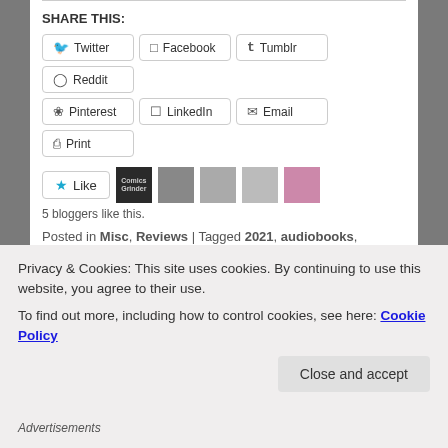SHARE THIS:
Twitter | Facebook | Tumblr | Reddit | Pinterest | LinkedIn | Email | Print
[Figure (other): Like button with star icon and 5 blogger avatar thumbnails]
5 bloggers like this.
Posted in Misc, Reviews | Tagged 2021, audiobooks, Avengers, batman, books, comics, DC, Goodreads, literary, manga, marvel, novels, Russian, science fiction | Leave a reply
Privacy & Cookies: This site uses cookies. By continuing to use this website, you agree to their use. To find out more, including how to control cookies, see here: Cookie Policy
Close and accept
Advertisements